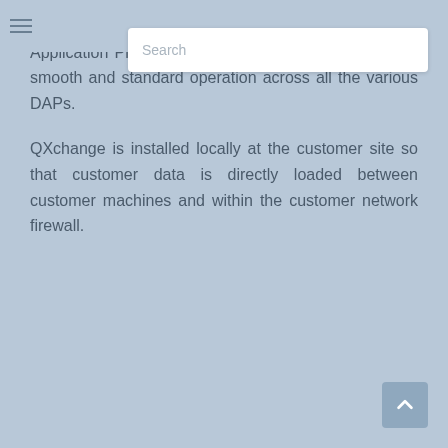Search
integration. All the DAPs are called using a standard Application Program Interface (API). This allows for a smooth and standard operation across all the various DAPs.
QXchange is installed locally at the customer site so that customer data is directly loaded between customer machines and within the customer network firewall.